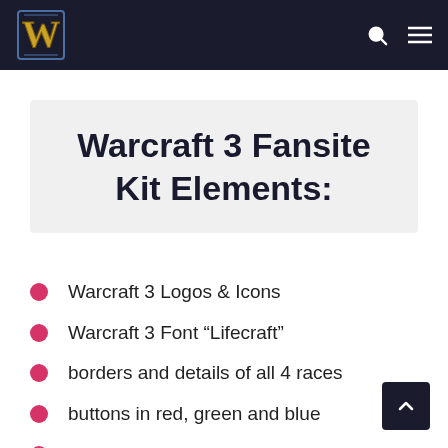WoW Fansite — navigation header with logo, search icon, and menu icon
Warcraft 3 Fansite Kit Elements:
Warcraft 3 Logos & Icons
Warcraft 3 Font “Lifecraft”
borders and details of all 4 races
buttons in red, green and blue
Photoshop Files for editing